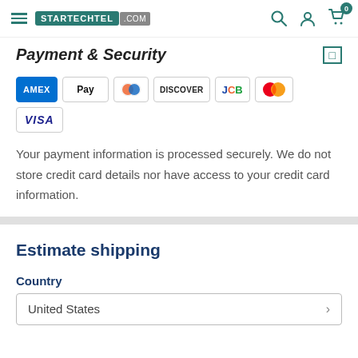STARTECHTEL.COM — navigation bar with search, account, and cart icons
Payment & Security
[Figure (other): Payment method icons: Amex, Apple Pay, Diners Club, Discover, JCB, Mastercard, Visa]
Your payment information is processed securely. We do not store credit card details nor have access to your credit card information.
Estimate shipping
Country
United States